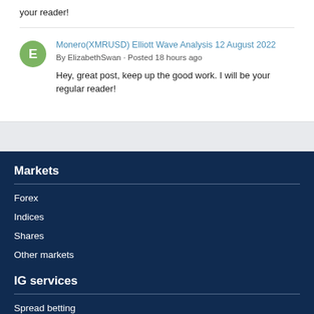your reader!
Monero(XMRUSD) Elliott Wave Analysis 12 August 2022
By ElizabethSwan · Posted 18 hours ago
Hey, great post, keep up the good work. I will be your regular reader!
Markets
Forex
Indices
Shares
Other markets
IG services
Spread betting